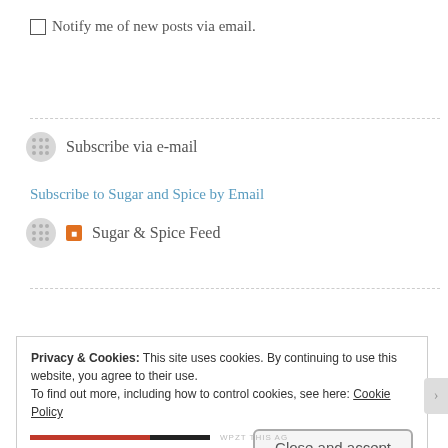Notify me of new posts via email.
Subscribe via e-mail
Subscribe to Sugar and Spice by Email
Sugar & Spice Feed
Pot Roast Used to Scare Me...
Privacy & Cookies: This site uses cookies. By continuing to use this website, you agree to their use.
To find out more, including how to control cookies, see here: Cookie Policy
Close and accept